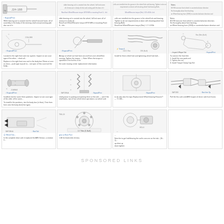[Figure (screenshot): Grid of automotive repair manual thumbnails showing diagrams and text for wheel/suspension/brake service procedures]
SPONSORED LINKS